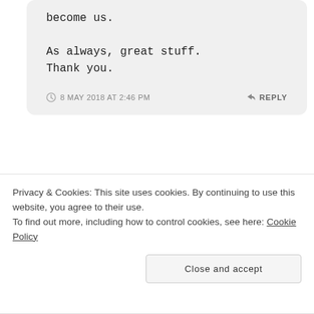become us.

As always, great stuff. Thank you.
8 MAY 2018 AT 2:46 PM
↳ REPLY
Ari
delay). You are so right.
Privacy & Cookies: This site uses cookies. By continuing to use this website, you agree to their use.
To find out more, including how to control cookies, see here: Cookie Policy
Close and accept